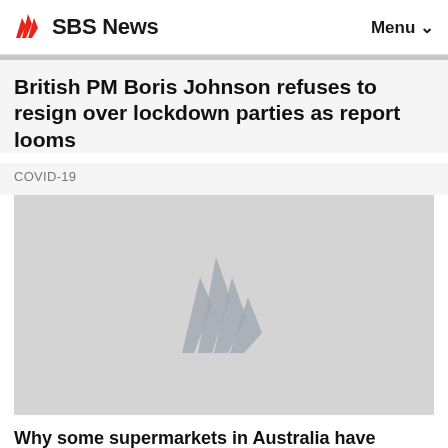SBS News  Menu
British PM Boris Johnson refuses to resign over lockdown parties as report looms
COVID-19
[Figure (logo): SBS logo watermark placeholder image in grey]
Why some supermarkets in Australia have started rationing